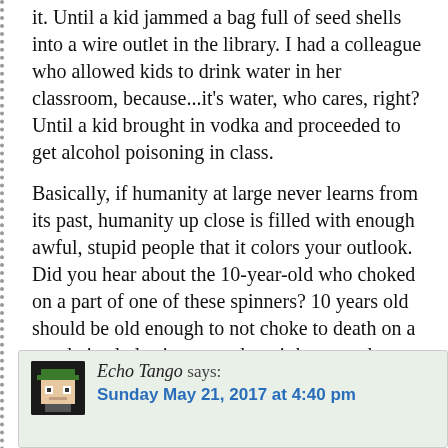it. Until a kid jammed a bag full of seed shells into a wire outlet in the library. I had a colleague who allowed kids to drink water in her classroom, because...it's water, who cares, right? Until a kid brought in vodka and proceeded to get alcohol poisoning in class.
Basically, if humanity at large never learns from its past, humanity up close is filled with enough awful, stupid people that it colors your outlook. Did you hear about the 10-year-old who choked on a part of one of these spinners? 10 years old should be old enough to not choke to death on a good-sized plastic toy, and yet it happened. Guarantee that the people near that idiot kid had a reaction to it that we'd say is unwarranted.
Reply
Echo Tango says: Sunday May 21, 2017 at 4:40 pm